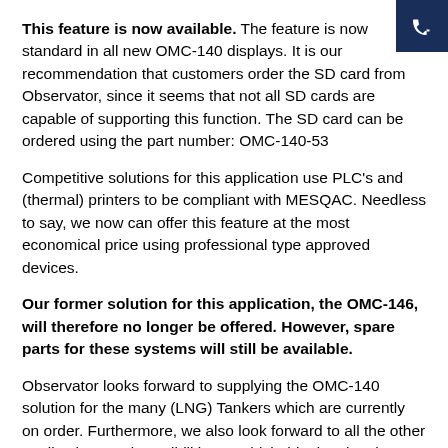This feature is now available. The feature is now standard in all new OMC-140 displays. It is our recommendation that customers order the SD card from Observator, since it seems that not all SD cards are capable of supporting this function. The SD card can be ordered using the part number: OMC-140-53
Competitive solutions for this application use PLC's and (thermal) printers to be compliant with MESQAC. Needless to say, we now can offer this feature at the most economical price using professional type approved devices.
Our former solution for this application, the OMC-146, will therefore no longer be offered. However, spare parts for these systems will still be available.
Observator looks forward to supplying the OMC-140 solution for the many (LNG) Tankers which are currently on order. Furthermore, we also look forward to all the other applications and possibilities to which this data logging capability may be applied.